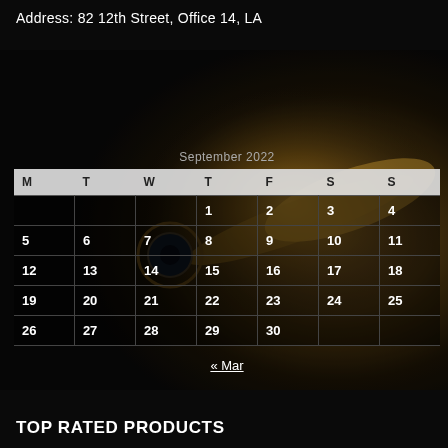Address: 82 12th Street, Office 14, LA
[Figure (photo): Dark background with close-up of a brass bullet/cartridge on a dark surface]
| M | T | W | T | F | S | S |
| --- | --- | --- | --- | --- | --- | --- |
|  |  |  | 1 | 2 | 3 | 4 |
| 5 | 6 | 7 | 8 | 9 | 10 | 11 |
| 12 | 13 | 14 | 15 | 16 | 17 | 18 |
| 19 | 20 | 21 | 22 | 23 | 24 | 25 |
| 26 | 27 | 28 | 29 | 30 |  |  |
« Mar
TOP RATED PRODUCTS